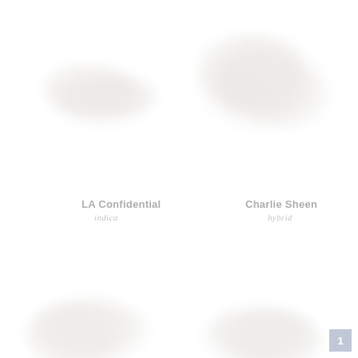[Figure (photo): Close-up photo of LA Confidential cannabis bud, white/light colored, low contrast on white background, upper left quadrant]
LA Confidential
indica
[Figure (photo): Close-up photo of Charlie Sheen cannabis bud, white/light colored, low contrast on white background, upper right quadrant]
Charlie Sheen
hybrid
[Figure (photo): Close-up photo of cannabis bud, white/light colored, partial view, lower left quadrant]
[Figure (photo): Close-up photo of cannabis bud, white/light colored, partial view, lower right quadrant]
1